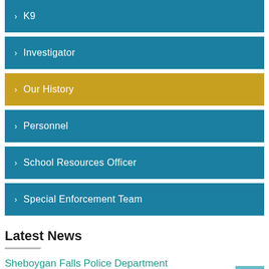> K9
> Investigator
> Our History
> Personnel
> School Resources Officer
> Special Enforcement Team
Latest News
Sheboygan Falls Police Department
Sheboygan Falls Police Department